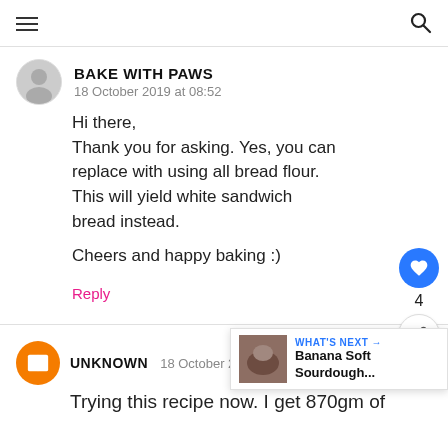Navigation header with hamburger menu and search icon
BAKE WITH PAWS
18 October 2019 at 08:52

Hi there,
Thank you for asking. Yes, you can replace with using all bread flour. This will yield white sandwich bread instead.

Cheers and happy baking :)
Reply
UNKNOWN   18 October 2019 at 15:4

Trying this recipe now. I get 870gm of